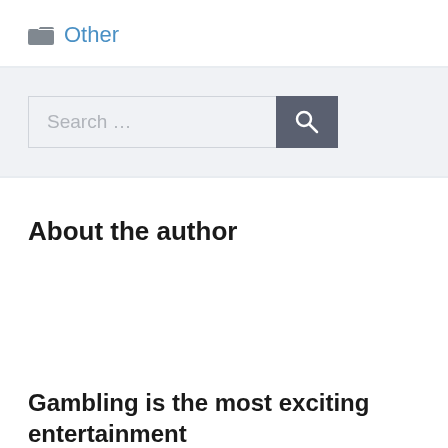Other
[Figure (other): Search bar with text input field showing placeholder 'Search ...' and a dark gray search button with magnifying glass icon]
About the author
Gambling is the most exciting entertainment